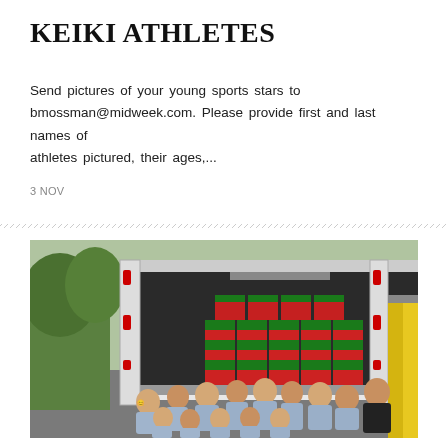KEIKI ATHLETES
Send pictures of your young sports stars to bmossman@midweek.com. Please provide first and last names of athletes pictured, their ages,...
3 NOV
[Figure (photo): Group of children in matching light blue t-shirts posing in front of an open delivery truck filled with boxes wrapped in red and green packaging, in an outdoor parking area with trees visible on the left and a covered structure on the right.]